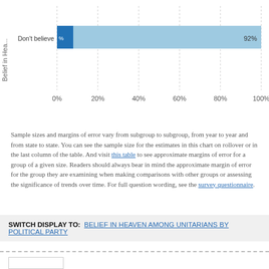[Figure (bar-chart): Belief in Heaven]
Sample sizes and margins of error vary from subgroup to subgroup, from year to year and from state to state. You can see the sample size for the estimates in this chart on rollover or in the last column of the table. And visit this table to see approximate margins of error for a group of a given size. Readers should always bear in mind the approximate margin of error for the group they are examining when making comparisons with other groups or assessing the significance of trends over time. For full question wording, see the survey questionnaire.
SWITCH DISPLAY TO: BELIEF IN HEAVEN AMONG UNITARIANS BY POLITICAL PARTY